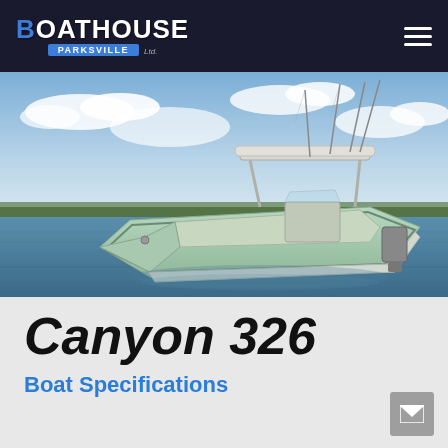Boathouse Parksville Ltd. — navigation bar with logo and hamburger menu
[Figure (photo): A light seafoam/mint green center console fishing boat on calm water with a t-top canopy and multiple fishing rods, set against a blue sky with light clouds and distant treeline.]
Canyon 326
Boat Specifications